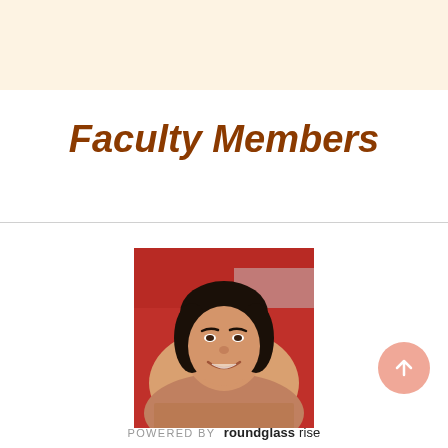Faculty Members
[Figure (photo): Headshot photo of a woman smiling, with dark hair pulled back, wearing a patterned top, with a red background]
POWERED BY roundglass rise